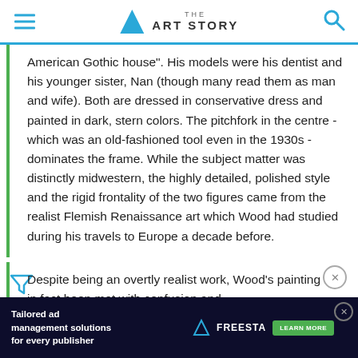THE ART STORY
American Gothic house". His models were his dentist and his younger sister, Nan (though many read them as man and wife). Both are dressed in conservative dress and painted in dark, stern colors. The pitchfork in the centre - which was an old-fashioned tool even in the 1930s - dominates the frame. While the subject matter was distinctly midwestern, the highly detailed, polished style and the rigid frontality of the two figures came from the realist Flemish Renaissance art which Wood had studied during his travels to Europe a decade before.
Despite being an overtly realist work, Wood's painting has in fact been met with confusion and